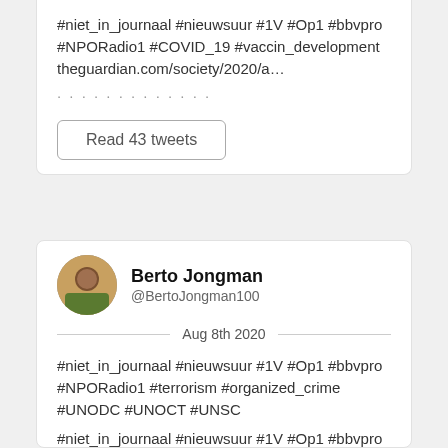#niet_in_journaal #nieuwsuur #1V #Op1 #bbvpro #NPORadio1 #COVID_19 #vaccin_development theguardian.com/society/2020/a…
Read 43 tweets
Berto Jongman @BertoJongman100 Aug 8th 2020
#niet_in_journaal #nieuwsuur #1V #Op1 #bbvpro #NPORadio1 #terrorism #organized_crime #UNODC #UNOCT #UNSC
#niet_in_journaal #nieuwsuur #1V #Op1 #bbvpro #NPOradio1 #CBRNe independent.co.uk/voices/hiroshi…